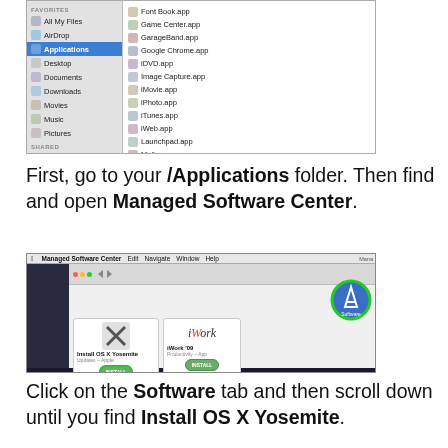[Figure (screenshot): Mac Finder window showing Applications folder in sidebar selected, with list of apps in right panel including Managed Software Center.app highlighted]
First, go to your /Applications folder. Then find and open Managed Software Center.
[Figure (screenshot): Managed Software Center application window showing Software tab circled in green, with Install OS X Yosemite and iWork '09 visible]
Click on the Software tab and then scroll down until you find Install OS X Yosemite.